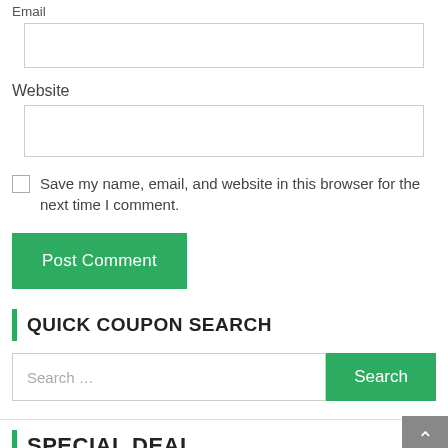Email
Website
Save my name, email, and website in this browser for the next time I comment.
Post Comment
QUICK COUPON SEARCH
Search …
Search
SPECIAL DEAL